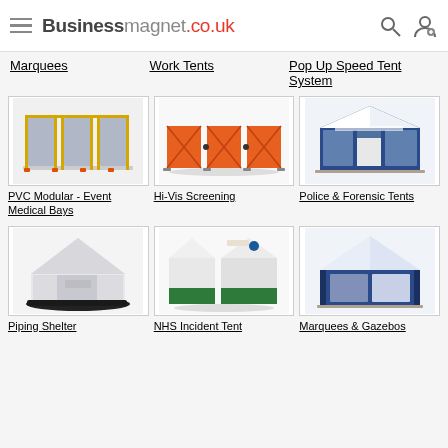Businessmagnet.co.uk
Marquees
Work Tents
Pop Up Speed Tent System
[Figure (photo): PVC Modular Event Medical Bays - grey panel shelter]
PVC Modular - Event Medical Bays
[Figure (photo): Hi-Vis Screening - orange folding screen panels]
Hi-Vis Screening
[Figure (photo): Police & Forensic Tents - blue and white branded tent]
Police & Forensic Tents
[Figure (photo): Piping Shelter - white inflatable shelter with black base]
Piping Shelter
[Figure (photo): NHS Incident Tent - white and green two-part tent]
NHS Incident Tent
[Figure (photo): Marquees & Gazebos - blue and white gazebo tent]
Marquees & Gazebos